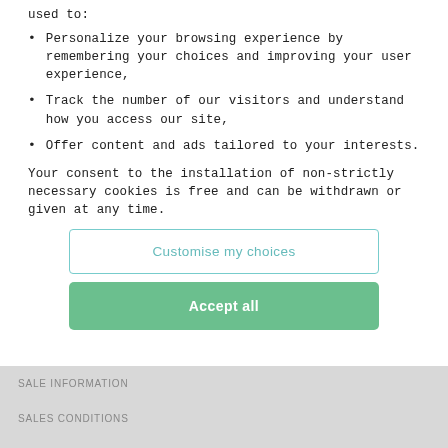used to:
Personalize your browsing experience by remembering your choices and improving your user experience,
Track the number of our visitors and understand how you access our site,
Offer content and ads tailored to your interests.
Your consent to the installation of non-strictly necessary cookies is free and can be withdrawn or given at any time.
Customise my choices
Accept all
SALE INFORMATION
SALES CONDITIONS
RETURN TO CATALOGUE